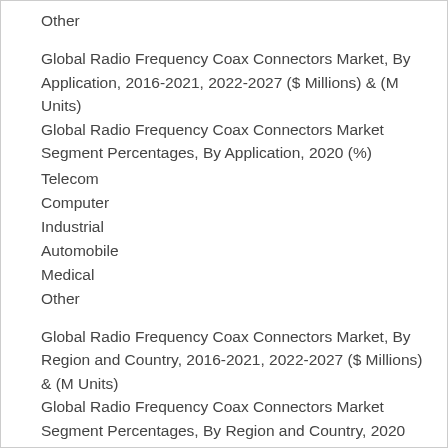Other
Global Radio Frequency Coax Connectors Market, By Application, 2016-2021, 2022-2027 ($ Millions) & (M Units)
Global Radio Frequency Coax Connectors Market Segment Percentages, By Application, 2020 (%)
Telecom
Computer
Industrial
Automobile
Medical
Other
Global Radio Frequency Coax Connectors Market, By Region and Country, 2016-2021, 2022-2027 ($ Millions) & (M Units)
Global Radio Frequency Coax Connectors Market Segment Percentages, By Region and Country, 2020 (%)
North America
US
Canada
Mexico
Europe
Germany
France
U.K.